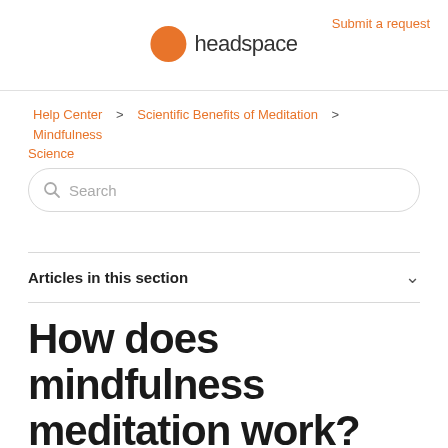Submit a request
[Figure (logo): Headspace orange circle logo with the word 'headspace' in dark text]
Help Center > Scientific Benefits of Meditation > Mindfulness Science
Search
Articles in this section
How does mindfulness meditation work?